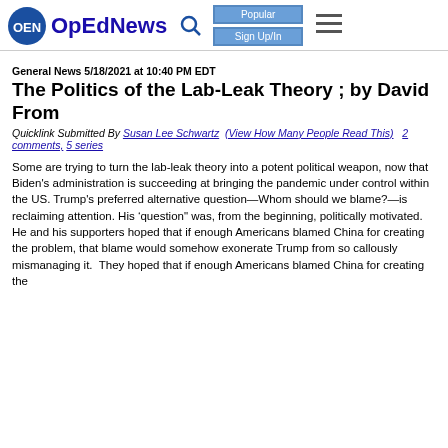OpEdNews
The Politics of the Lab-Leak Theory ; by David From
General News 5/18/2021 at 10:40 PM EDT
Quicklink Submitted By Susan Lee Schwartz (View How Many People Read This) 2 comments, 5 series
Some are trying to turn the lab-leak theory into a potent political weapon, now that Biden's administration is succeeding at bringing the pandemic under control within the US. Trump’s preferred alternative question—Whom should we blame?—is reclaiming attention. His ‘question" was, from the beginning, politically motivated. He and his supporters hoped that if enough Americans blamed China for creating the problem, that blame would somehow exonerate Trump from so callously mismanaging it. They hoped that if enough Americans blamed China for creating the